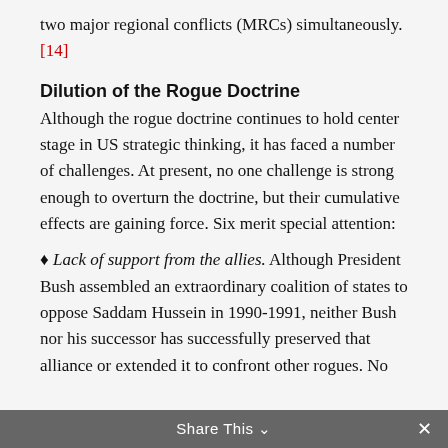two major regional conflicts (MRCs) simultaneously. [14]
Dilution of the Rogue Doctrine
Although the rogue doctrine continues to hold center stage in US strategic thinking, it has faced a number of challenges. At present, no one challenge is strong enough to overturn the doctrine, but their cumulative effects are gaining force. Six merit special attention:
♦ Lack of support from the allies. Although President Bush assembled an extraordinary coalition of states to oppose Saddam Hussein in 1990-1991, neither Bush nor his successor has successfully preserved that alliance or extended it to confront other rogues. No
Share This ∨  ×